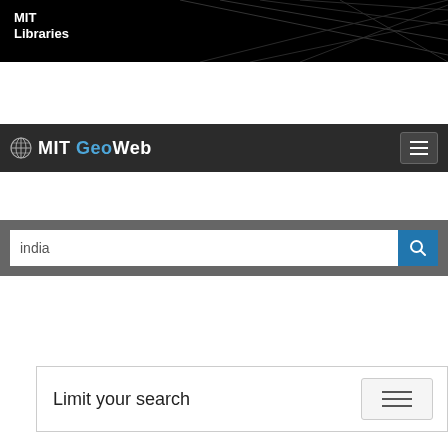MIT Libraries
MIT GeoWeb
india (search input)
Limit your search
You searched for: india
Publisher > ML InfoMap (Firm)
Subject > Rivers
Subject > Drainage
Subject > Watersheds
Subject > Inland Waters